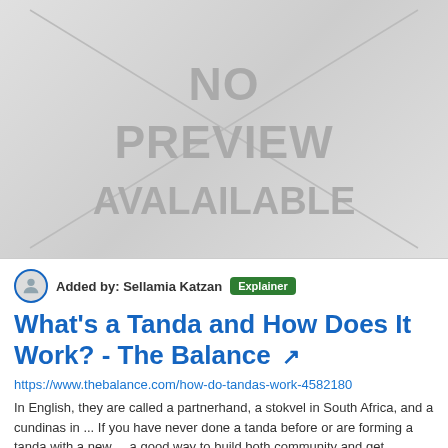[Figure (illustration): No preview available placeholder image with grey background and diagonal lines]
Added by: Sellamia Katzan  Explainer
What's a Tanda and How Does It Work? - The Balance
https://www.thebalance.com/how-do-tandas-work-4582180
In English, they are called a partnerhand, a stokvel in South Africa, and a cundinas in ... If you have never done a tanda before or are forming a tanda with a new ... a good way to build both community and get...
2,257   44,585,581   US   Up